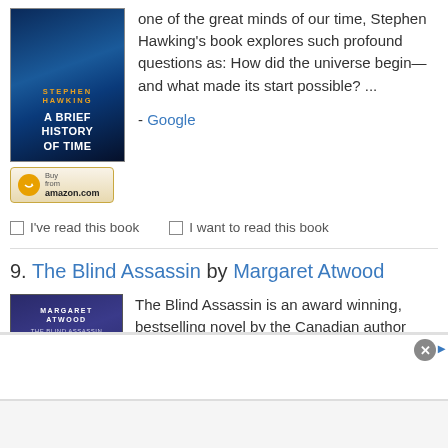[Figure (illustration): Book cover of 'A Brief History of Time' by Stephen Hawking — dark blue background with author name in gold letters and title in white bold text]
[Figure (illustration): Amazon 'Buy from amazon.com' button with circular logo]
one of the great minds of our time, Stephen Hawking's book explores such profound questions as: How did the universe begin—and what made its start possible? ...
- Google
I've read this book
I want to read this book
9. The Blind Assassin by Margaret Atwood
[Figure (illustration): Book cover of 'The Blind Assassin' by Margaret Atwood — dark navy/purple background with author name in white bold letters and title below]
The Blind Assassin is an award winning, bestselling novel by the Canadian author